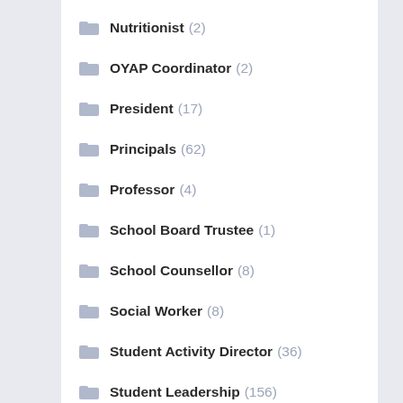Nutritionist (2)
OYAP Coordinator (2)
President (17)
Principals (62)
Professor (4)
School Board Trustee (1)
School Counsellor (8)
Social Worker (8)
Student Activity Director (36)
Student Leadership (156)
Student Success (183)
Superintendent (13)